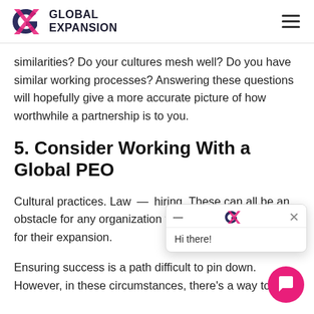GLOBAL EXPANSION
similarities? Do your cultures mesh well? Do you have similar working processes? Answering these questions will hopefully give a more accurate picture of how worthwhile a partnership is to you.
5. Consider Working With a Global PEO
Cultural practices. Law — [obscured by chat popup] — hiring. These can all b[e barriers to an] organization that's eit[her] unprepared for their expansion.
Ensuring success is a path difficult to pin dow[n]. However, in these circumstances, there's a way to [ensure a more successful...]